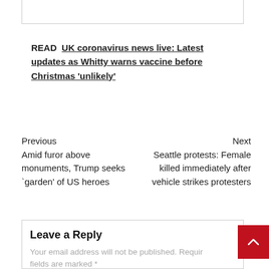READ  UK coronavirus news live: Latest updates as Whitty warns vaccine before Christmas 'unlikely'
Previous
Amid furor above monuments, Trump seeks `garden' of US heroes
Next
Seattle protests: Female killed immediately after vehicle strikes protesters
Leave a Reply
Your email address will not be published. Required fields are marked *